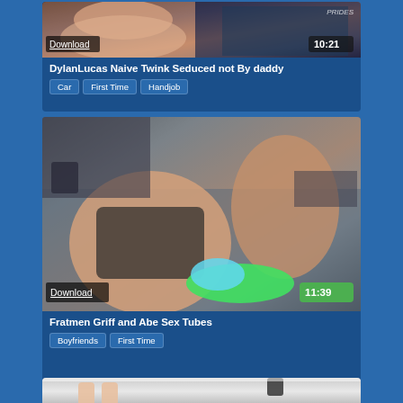[Figure (photo): Video thumbnail for DylanLucas video showing people, duration 10:21 with Download button and PRIDES watermark]
DylanLucas Naive Twink Seduced not By daddy
Car   First Time   Handjob
[Figure (photo): Video thumbnail for Fratmen Griff and Abe Sex Tubes showing men on couch, duration 11:39 with Download button]
Fratmen Griff and Abe Sex Tubes
Boyfriends   First Time
[Figure (photo): Partial video thumbnail showing feet and legs on a white surface]